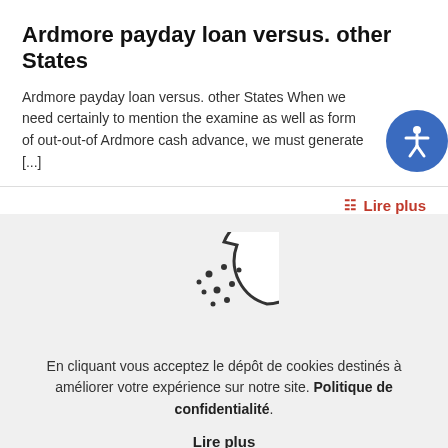Ardmore payday loan versus. other States
Ardmore payday loan versus. other States When we need certainly to mention the examine as well as form of out-out-of Ardmore cash advance, we must generate [...]
Lire plus
[Figure (illustration): Cookie icon - a circle with a bite taken out of the top-right, with dots scattered across it representing chocolate chips]
En cliquant vous acceptez le dépôt de cookies destinés à améliorer votre expérience sur notre site. Politique de confidentialité.
Lire plus
Accepter les cookies